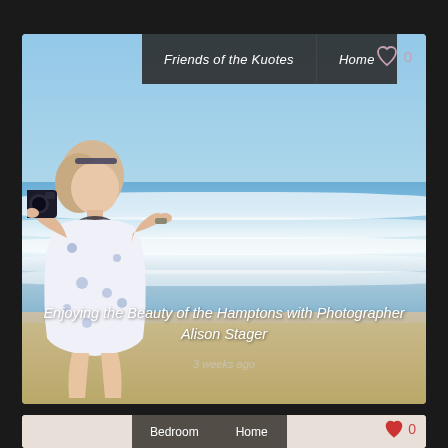[Figure (photo): Woman with blonde hair holding a camera standing on a beach with ocean waves behind her. She is wearing a white and blue floral outfit. Blue sky in background.]
Friends of the Kuotes   Home
Enjoying the Beauty of the Hamptons with Photographer Alison Stager
3 weeks ago
[Figure (photo): Partial view of a bedroom interior. Navigation bar showing Bedroom and Home tabs visible at top.]
Bedroom   Home